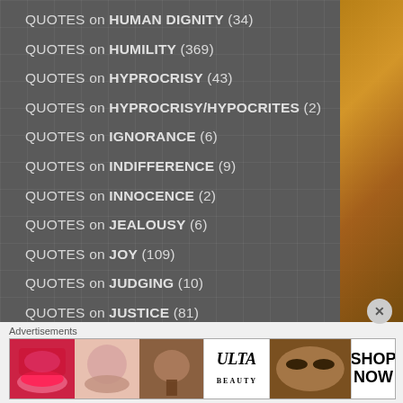QUOTES on HUMAN DIGNITY (34)
QUOTES on HUMILITY (369)
QUOTES on HYPROCRISY (43)
QUOTES on HYPROCRISY/HYPOCRITES (2)
QUOTES on IGNORANCE (6)
QUOTES on INDIFFERENCE (9)
QUOTES on INNOCENCE (2)
QUOTES on JEALOUSY (6)
QUOTES on JOY (109)
QUOTES on JUDGING (10)
QUOTES on JUSTICE (81)
Advertisements
[Figure (photo): Ulta Beauty advertisement banner showing makeup and beauty products with SHOP NOW call to action]